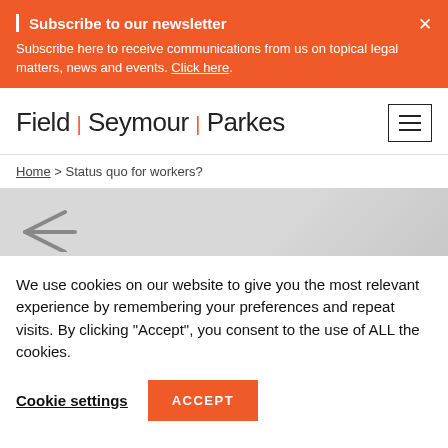Subscribe to our newsletter
Subscribe here to receive communications from us on topical legal matters, news and events. Click here.
[Figure (logo): Field Seymour Parkes law firm logo with orange pipe separators and hamburger menu icon]
Home > Status quo for workers?
[Figure (illustration): Gray hero banner area with a back arrow (less-than chevron) in the lower left]
We use cookies on our website to give you the most relevant experience by remembering your preferences and repeat visits. By clicking "Accept", you consent to the use of ALL the cookies.
Cookie settings
ACCEPT